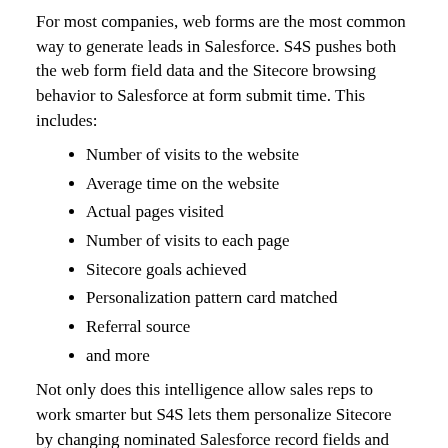For most companies, web forms are the most common way to generate leads in Salesforce. S4S pushes both the web form field data and the Sitecore browsing behavior to Salesforce at form submit time. This includes:
Number of visits to the website
Average time on the website
Actual pages visited
Number of visits to each page
Sitecore goals achieved
Personalization pattern card matched
Referral source
and more
Not only does this intelligence allow sales reps to work smarter but S4S lets them personalize Sitecore by changing nominated Salesforce record fields and pattern card settings. Consider how S4S improves the processing of leads:
A Salesforce report identifies which hot leads to